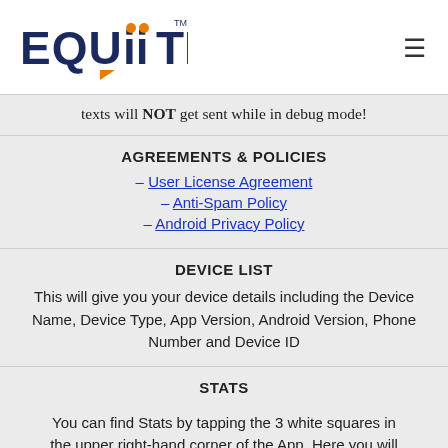EQUIITEXT [logo] [menu icon]
texts will NOT get sent while in debug mode!
AGREEMENTS & POLICIES
– User License Agreement
– Anti-Spam Policy
– Android Privacy Policy
DEVICE LIST
This will give you your device details including the Device Name, Device Type, App Version, Android Version, Phone Number and Device ID
STATS
You can find Stats by tapping the 3 white squares in the upper right-hand corner of the App. Here you will find